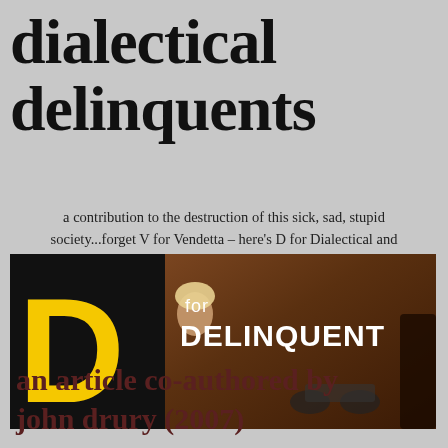dialectical delinquents
a contribution to the destruction of this sick, sad, stupid society...forget V for Vendetta – here's D for Dialectical and
[Figure (photo): Movie poster image showing 'D for DELINQUENT' text with a large yellow letter D on a black background on the left, and a painted/illustrated scene with a woman and a motorcycle on the right. Bold white text reads 'for DELINQUENT'.]
an article co-authored by john drury (2007)